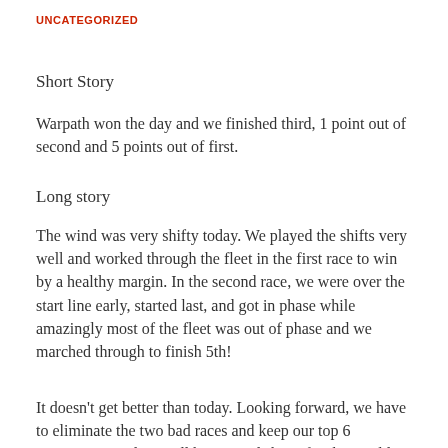UNCATEGORIZED
Short Story
Warpath won the day and we finished third, 1 point out of second and 5 points out of first.
Long story
The wind was very shifty today. We played the shifts very well and worked through the fleet in the first race to win by a healthy margin. In the second race, we were over the start line early, started last, and got in phase while amazingly most of the fleet was out of phase and we marched through to finish 5th!
It doesn't get better than today. Looking forward, we have to eliminate the two bad races and keep our top 6 consistency and we will be in good shape for the World Championship next month.